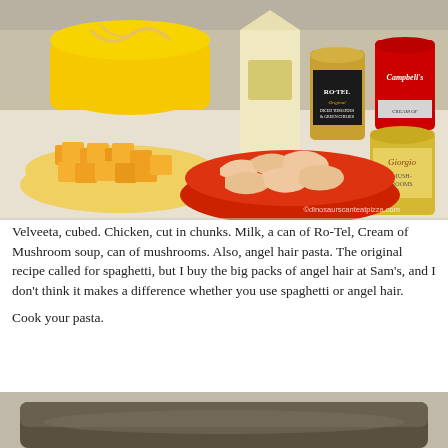[Figure (photo): Ingredients on a white countertop: yellow bowl with angel hair pasta, yellow plate with cubed Velveeta cheese, red bowl with raw chicken chunks, carton of milk, can of Ro-Tel original diced tomatoes and green chilies, can of Campbell's cream of mushroom soup, can of Giorgio mushrooms. Watermark: ©dinosaurscanteatpizza.com]
Velveeta, cubed. Chicken, cut in chunks. Milk, a can of Ro-Tel, Cream of Mushroom soup, can of mushrooms. Also, angel hair pasta. The original recipe called for spaghetti, but I buy the big packs of angel hair at Sam's, and I don't think it makes a difference whether you use spaghetti or angel hair.
Cook your pasta.
[Figure (photo): Bottom portion of a photo showing a dark cooking pan or pot on a stovetop, partially visible at the bottom of the page.]